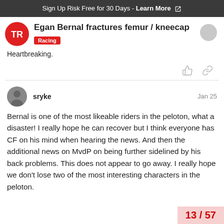Sign Up Risk Free for 30 Days - Learn More
Egan Bernal fractures femur / kneecap
Racing
Heartbreaking.
sryke  Jan 25
Bernal is one of the most likeable riders in the peloton, what a disaster! I really hope he can recover but I think everyone has CF on his mind when hearing the news. And then the additional news on MvdP on being further sidelined by his back problems. This does not appear to go away. I really hope we don't lose two of the most interesting characters in the peloton.
13 / 57